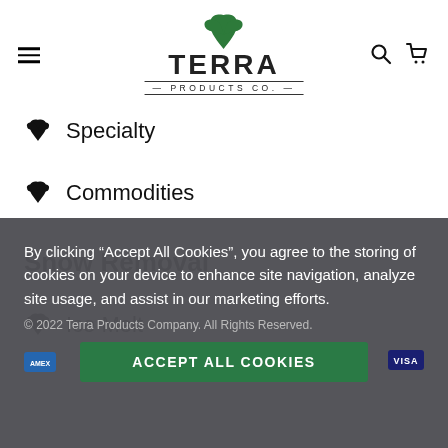Terra Products Co.
Specialty
Commodities
Snow Removal
Ice Melt
By clicking “Accept All Cookies”, you agree to the storing of cookies on your device to enhance site navigation, analyze site usage, and assist in our marketing efforts.
© 2022 Terra Products Company. All Rights Reserved.
ACCEPT ALL COOKIES